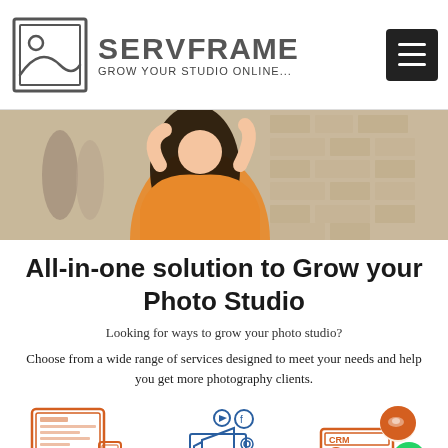SERVFRAME — GROW YOUR STUDIO ONLINE...
[Figure (photo): Woman in orange top with long dark hair in an outdoor urban setting]
All-in-one solution to Grow your Photo Studio
Looking for ways to grow your photo studio?
Choose from a wide range of services designed to meet your needs and help you get more photography clients.
[Figure (illustration): Website & Portfolio icon — orange desktop/monitor illustration]
Website &
Portfolio
[Figure (illustration): Digital Marketing icon — blue megaphone/social media illustration]
Digital
Marketing
[Figure (illustration): Studio Management icon — orange CRM/dashboard with chat bubbles and WhatsApp icon]
Studio
Management &